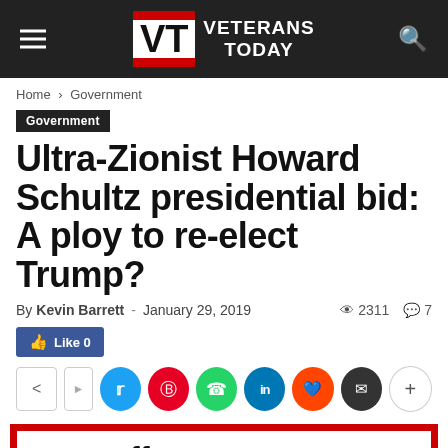Veterans Today
Home > Government
Government
Ultra-Zionist Howard Schultz presidential bid: A ploy to re-elect Trump?
By Kevin Barrett - January 29, 2019  2311  7
[Figure (screenshot): Facebook Like button showing 0 likes]
[Figure (infographic): Social sharing buttons: share, Twitter, Pinterest, WhatsApp, LinkedIn, Reddit, Email, more]
[Figure (photo): Image with red border containing text: My coffee money goes to help suffering Palestinians]